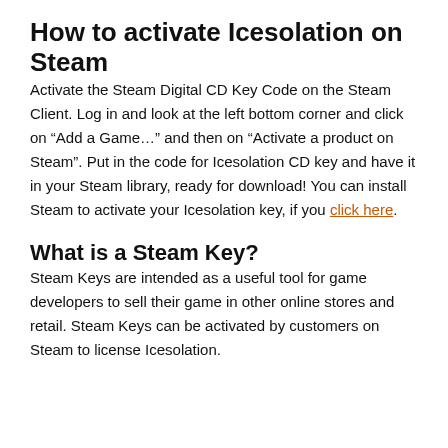How to activate Icesolation on Steam
Activate the Steam Digital CD Key Code on the Steam Client. Log in and look at the left bottom corner and click on “Add a Game…” and then on “Activate a product on Steam”. Put in the code for Icesolation CD key and have it in your Steam library, ready for download! You can install Steam to activate your Icesolation key, if you click here.
What is a Steam Key?
Steam Keys are intended as a useful tool for game developers to sell their game in other online stores and retail. Steam Keys can be activated by customers on Steam to license Icesolation.